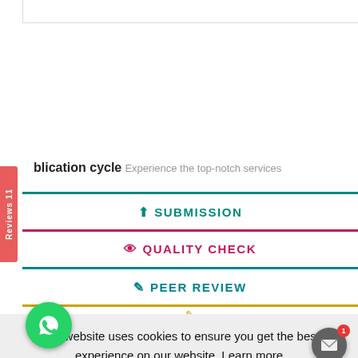blication cycle Experience the top-notch services
SUBMISSION
QUALITY CHECK
PEER REVIEW
This website uses cookies to ensure you get the best experience on our website. Learn more
Yes, I understand